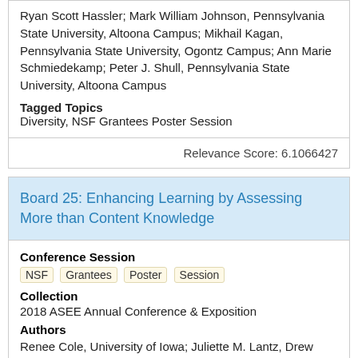Ryan Scott Hassler; Mark William Johnson, Pennsylvania State University, Altoona Campus; Mikhail Kagan, Pennsylvania State University, Ogontz Campus; Ann Marie Schmiedekamp; Peter J. Shull, Pennsylvania State University, Altoona Campus
Tagged Topics
Diversity, NSF Grantees Poster Session
Relevance Score: 6.1066427
Board 25: Enhancing Learning by Assessing More than Content Knowledge
Conference Session
NSF  Grantees  Poster  Session
Collection
2018 ASEE Annual Conference & Exposition
Authors
Renee Cole, University of Iowa; Juliette M. Lantz, Drew University; Suzanne Ruder, Virginia Commonwealth University; Gilbert J. Brown, ...